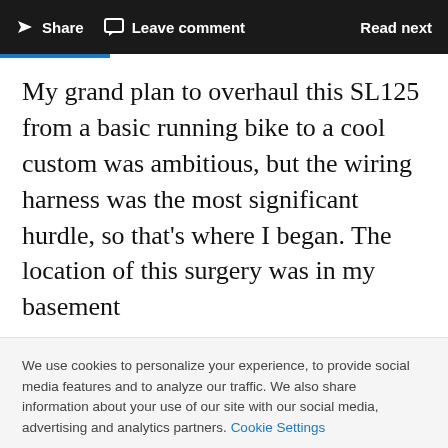Share   Leave comment   Read next
My grand plan to overhaul this SL125 from a basic running bike to a cool custom was ambitious, but the wiring harness was the most significant hurdle, so that's where I began. The location of this surgery was in my basement
We use cookies to personalize your experience, to provide social media features and to analyze our traffic. We also share information about your use of our site with our social media, advertising and analytics partners. Cookie Settings
Accept all cookies